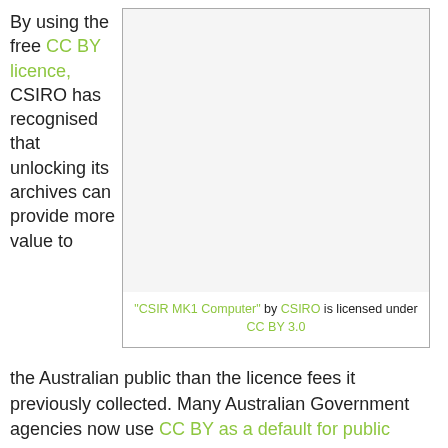By using the free CC BY licence, CSIRO has recognised that unlocking its archives can provide more value to
[Figure (other): Image placeholder box (white/light grey) representing the CSIR MK1 Computer photograph licensed by CSIRO under CC BY 3.0]
"CSIR MK1 Computer" by CSIRO is licensed under CC BY 3.0
the Australian public than the licence fees it previously collected. Many Australian Government agencies now use CC BY as a default for public sector information. The Australian Government intellectual property rules mandate